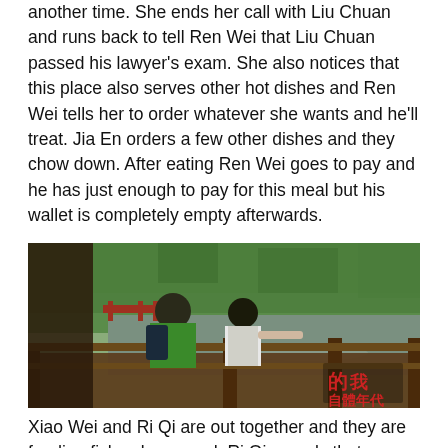another time. She ends her call with Liu Chuan and runs back to tell Ren Wei that Liu Chuan passed his lawyer's exam. She also notices that this place also serves other hot dishes and Ren Wei tells her to order whatever she wants and he'll treat. Jia En orders a few other dishes and they chow down. After eating Ren Wei goes to pay and he has just enough to pay for this meal but his wallet is completely empty afterwards.
[Figure (photo): Two people (a boy in green shirt with backpack and a girl in white top) standing at a wooden railing, looking at a pond with trees in the background. Chinese characters visible in bottom right corner.]
Xiao Wei and Ri Qi are out together and they are feeding fishes by a pond. Ri Qi reveals that scientists have said fish